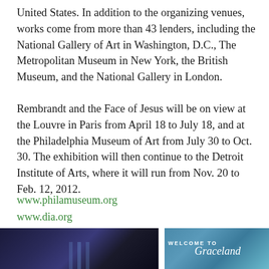United States. In addition to the organizing venues, works come from more than 43 lenders, including the National Gallery of Art in Washington, D.C., The Metropolitan Museum in New York, the British Museum, and the National Gallery in London.
Rembrandt and the Face of Jesus will be on view at the Louvre in Paris from April 18 to July 18, and at the Philadelphia Museum of Art from July 30 to Oct. 30. The exhibition will then continue to the Detroit Institute of Art, where it will run from Nov. 20 to Feb. 12, 2012.
www.philamuseum.org
www.dia.org
You May Also Like
[Figure (photo): Night cityscape photo, likely New York City skyline with blue lights]
[Figure (photo): Welcome to Graceland sign photo]